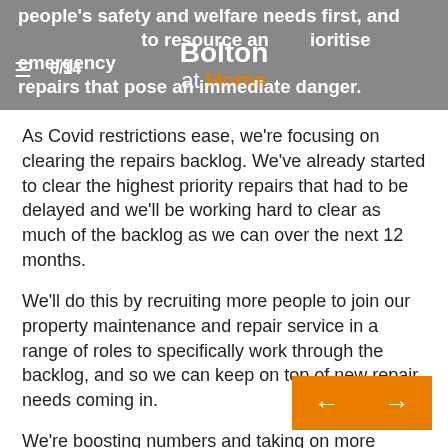Bolton at Home — page 6/14
people's safety and welfare needs first, and cont… to resource and prioritise emergency repairs that pose an immediate danger.
As Covid restrictions ease, we're focusing on clearing the repairs backlog. We've already started to clear the highest priority repairs that had to be delayed and we'll be working hard to clear as much of the backlog as we can over the next 12 months.
We'll do this by recruiting more people to join our property maintenance and repair service in a range of roles to specifically work through the backlog, and so we can keep on top of new repair needs coming in.
We're boosting numbers and taking on more specialist trades people working in plumbing, joinery and glazing as examples. As well as improving our service, we're also providing more jobs for local people. We'll update you after the team's established.